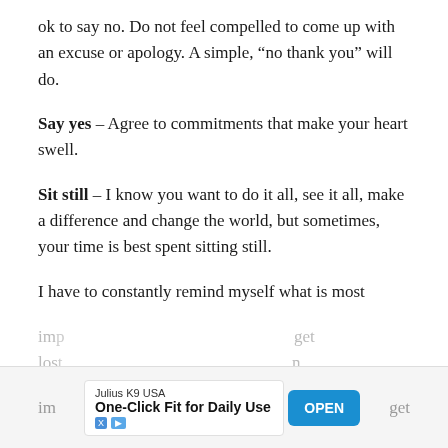ok to say no. Do not feel compelled to come up with an excuse or apology. A simple, “no thank you” will do.
Say yes – Agree to commitments that make your heart swell.
Sit still – I know you want to do it all, see it all, make a difference and change the world, but sometimes, your time is best spent sitting still.
I have to constantly remind myself what is most imp... get lost... n
[Figure (other): Advertisement banner: Julius K9 USA – One-Click Fit for Daily Use with an OPEN button]